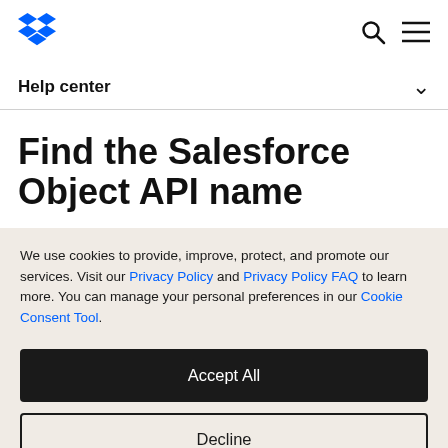[Figure (logo): Dropbox blue diamond logo in top left of navigation bar]
Help center
Find the Salesforce Object API name
We use cookies to provide, improve, protect, and promote our services. Visit our Privacy Policy and Privacy Policy FAQ to learn more. You can manage your personal preferences in our Cookie Consent Tool.
Accept All
Decline